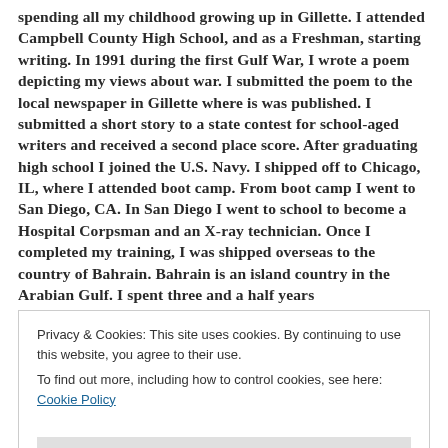spending all my childhood growing up in Gillette. I attended Campbell County High School, and as a Freshman, starting writing. In 1991 during the first Gulf War, I wrote a poem depicting my views about war. I submitted the poem to the local newspaper in Gillette where is was published. I submitted a short story to a state contest for school-aged writers and received a second place score. After graduating high school I joined the U.S. Navy. I shipped off to Chicago, IL, where I attended boot camp. From boot camp I went to San Diego, CA. In San Diego I went to school to become a Hospital Corpsman and an X-ray technician. Once I completed my training, I was shipped overseas to the country of Bahrain. Bahrain is an island country in the Arabian Gulf. I spent three and a half years
Privacy & Cookies: This site uses cookies. By continuing to use this website, you agree to their use.
To find out more, including how to control cookies, see here: Cookie Policy
Close and accept
Newcastle, WY.